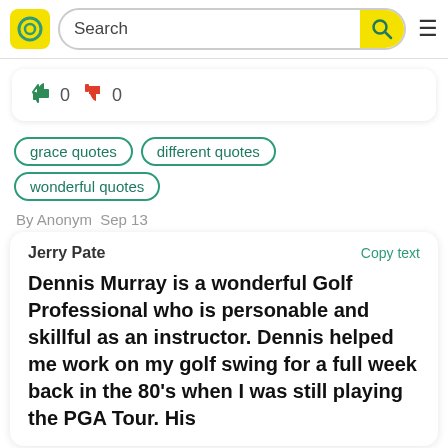Search
[Figure (infographic): Thumbs up icon with count 0 and thumbs down icon with count 0]
grace quotes
different quotes
wonderful quotes
By Anonym  Sep 13
Jerry Pate
Copy text

Dennis Murray is a wonderful Golf Professional who is personable and skillful as an instructor. Dennis helped me work on my golf swing for a full week back in the 80's when I was still playing the PGA Tour. His